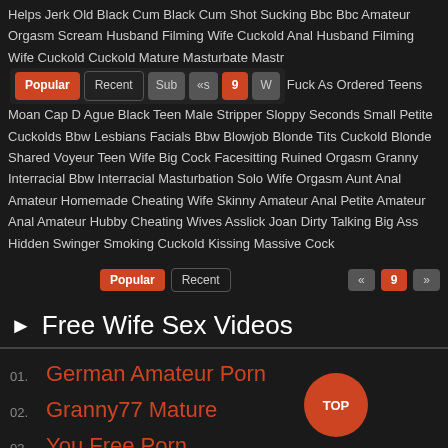Helps Jerk Old Black Cum Black Cum Shot Sucking Bbc Bbc Amateur Orgasm Scream Husband Filming Wife Cuckold Anal Husband Filming Wife Cuckold Cuckold Mature Masturbate Masturbation Husband Filming Wife Cuckold Fuck As Ordered Teens Moan Cap D Ague Black Teen Male Stripper Sloppy Seconds Small Petite Cuckolds Bbw Lesbians Facials Bbw Blowjob Blonde Tits Cuckold Blonde Shared Voyeur Teen Wife Big Cock Facesitting Ruined Orgasm Granny Interracial Bbw Interracial Masturbation Solo Wife Orgasm Aunt Anal Amateur Homemade Cheating Wife Skinny Amateur Anal Petite Amateur Anal Amateur Hubby Cheating Wives Asslick Joan Dirty Talking Big Ass Hidden Swinger Smoking Cuckold Kissing Massive Cock
Popular | Recent | « | Sub | 9 | »
Popular | Recent | « | 9 | »
▶ Free Wife Sex Videos
01. German Amateur Porn
02. Granny77 Mature
03. You Free Porn
04. 40 Plus Mature
05. Amateur Mature Porn